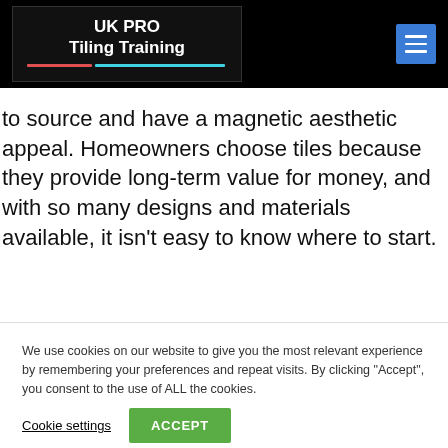UK PRO Tiling Training
to source and have a magnetic aesthetic appeal. Homeowners choose tiles because they provide long-term value for money, and with so many designs and materials available, it isn't easy to know where to start.
We use cookies on our website to give you the most relevant experience by remembering your preferences and repeat visits. By clicking “Accept”, you consent to the use of ALL the cookies.
Cookie settings | ACCEPT